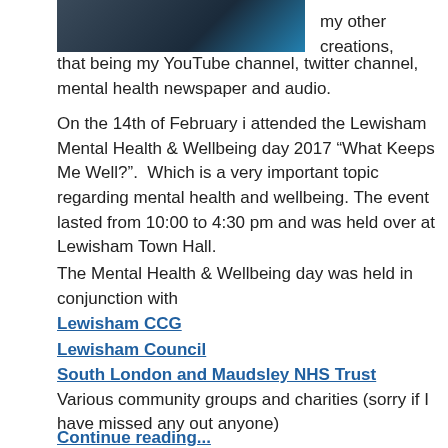[Figure (photo): Partial photo of a person, dark background with blue accent]
my other creations, that being my YouTube channel, twitter channel, mental health newspaper and audio.
On the 14th of February i attended the Lewisham Mental Health & Wellbeing day 2017 “What Keeps Me Well?”.  Which is a very important topic regarding mental health and wellbeing. The event lasted from 10:00 to 4:30 pm and was held over at Lewisham Town Hall.
The Mental Health & Wellbeing day was held in conjunction with
Lewisham CCG
Lewisham Council
South London and Maudsley NHS Trust
Various community groups and charities (sorry if I have missed any out anyone)
Continue reading...